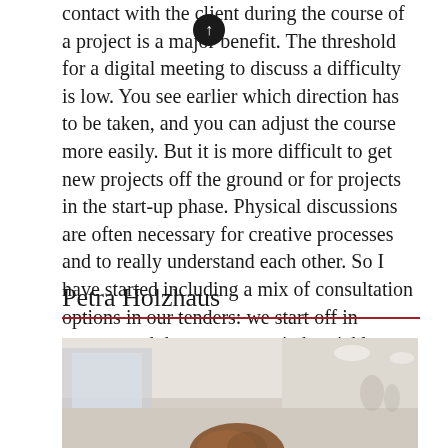contact with the client during the course of a project is a major benefit. The threshold for a digital meeting to discuss a difficulty is low. You see earlier which direction has to be taken, and you can adjust the course more easily. But it is more difficult to get new projects off the ground or for projects in the start-up phase. Physical discussions are often necessary for creative processes and to really understand each other. So I have started including a mix of consultation options in our tenders: we start off in person, and then we can switch quickly to online resources. That makes things a lot more efficient.
Petra Holzhaus
[Figure (photo): Photo of Petra Holzhaus in a corridor/hallway setting, warm lighting, partial view showing top of head with reddish-brown hair]